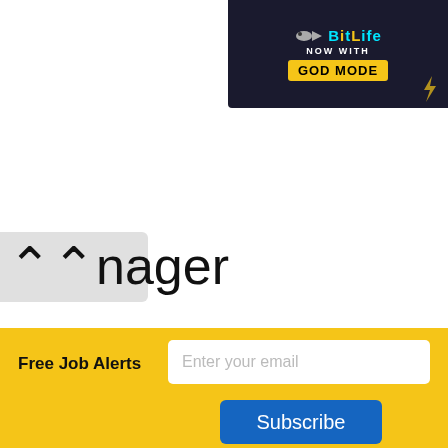[Figure (screenshot): BitLife ad banner with 'NOW WITH GOD MODE' text on dark background]
...nager
Free Job Alerts  [Enter your email]  Subscribe
[Figure (screenshot): Telegram icon, WhatsApp icon with text, and Google Play badge]
Subscribe to our
[Figure (logo): YouTube Channel logo with red Tube box]
Vacancy Circular No: